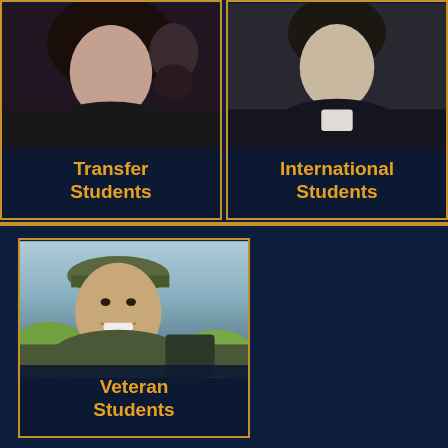[Figure (photo): Photo of a young woman (transfer student) with dark hair, wearing dark clothing, against a dark background]
[Figure (photo): Photo of a young man (international student) in a dark suit jacket, against a dark background]
[Figure (photo): Photo of a smiling person in military camouflage uniform and cap (veteran student), outdoors with greenery in background]
Transfer Students
International Students
Veteran Students